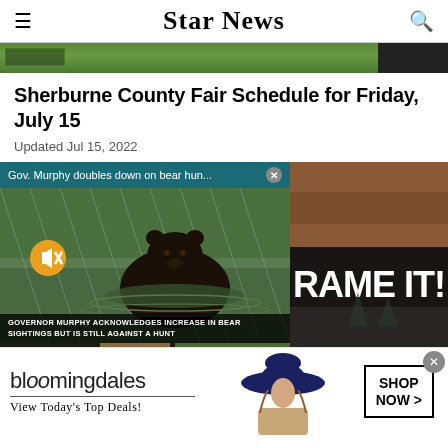Star News
[Figure (photo): Top image strip showing green grass and dark background on the right]
Sherburne County Fair Schedule for Friday, July 15
Updated Jul 15, 2022
[Figure (screenshot): Video popup overlay: 'Gov. Murphy doubles down on bear hun...' with X close button. Shows a black bear in water. Yellow mute button. Caption: 'GOVERNOR MURPHY ACKNOWLEDGES INCREASE IN BEAR SIGHTINGS BUT IS STILL AGAINST A HUNT']
[Figure (photo): Right side photo showing a sign reading 'RAME IT!' on a wooden storefront]
[Figure (photo): Bottom partial image strip showing 'DLi' text and other partial imagery]
[Figure (screenshot): Bloomingdale's advertisement: 'bloomingdales / View Today's Top Deals!' with woman in hat image and 'SHOP NOW >' button]